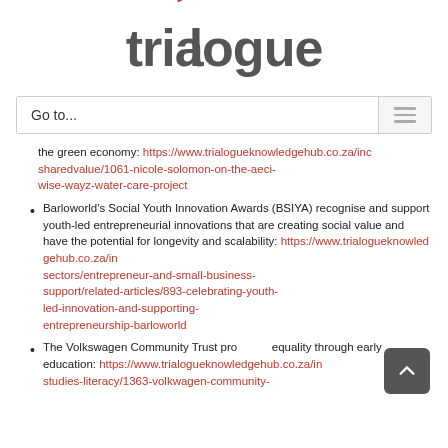[Figure (logo): Trialogue logo with red flag accent on the letter 'i']
Go to...
the green economy: https://www.trialogueknowledgehub.co.za/index/sharedvalue/1061-nicole-solomon-on-the-aeci-wise-wayz-water-care-project
Barloworld's Social Youth Innovation Awards (BSIYA) recognise and support youth-led entrepreneurial innovations that are creating social value and have the potential for longevity and scalability: https://www.trialogueknowledgehub.co.za/index/sectors/entrepreneur-and-small-business-support/related-articles/893-celebrating-youth-led-innovation-and-supporting-entrepreneurship-barloworld
The Volkswagen Community Trust pro equality through early education: https://www.trialogueknowledgehub.co.za/index/studies-literacy/1363-volkwagen-community-